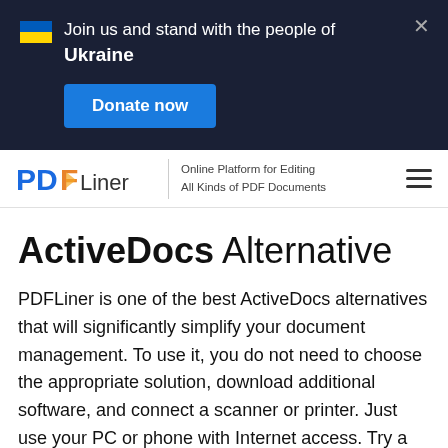Join us and stand with the people of Ukraine
Donate now
[Figure (logo): PDFLiner logo with tagline: Online Platform for Editing All Kinds of PDF Documents]
ActiveDocs Alternative
PDFLiner is one of the best ActiveDocs alternatives that will significantly simplify your document management. To use it, you do not need to choose the appropriate solution, download additional software, and connect a scanner or printer. Just use your PC or phone with Internet access. Try a free trial and choose